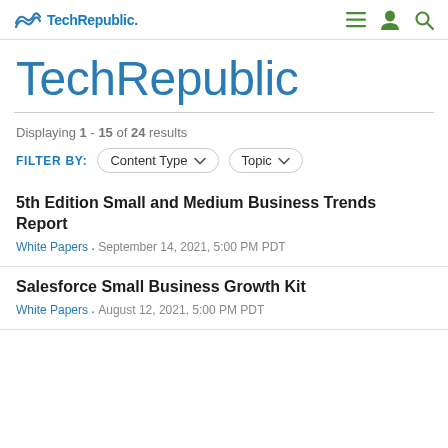TechRepublic
TechRepublic
Displaying 1 - 15 of 24 results
FILTER BY: Content Type  Topic
5th Edition Small and Medium Business Trends Report
White Papers · September 14, 2021, 5:00 PM PDT
Salesforce Small Business Growth Kit
White Papers · August 12, 2021, 5:00 PM PDT